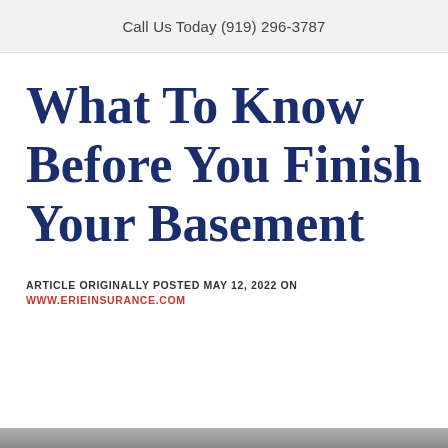Call Us Today (919) 296-3787
What To Know Before You Finish Your Basement
ARTICLE ORIGINALLY POSTED MAY 12, 2022 ON
WWW.ERIEINSURANCE.COM